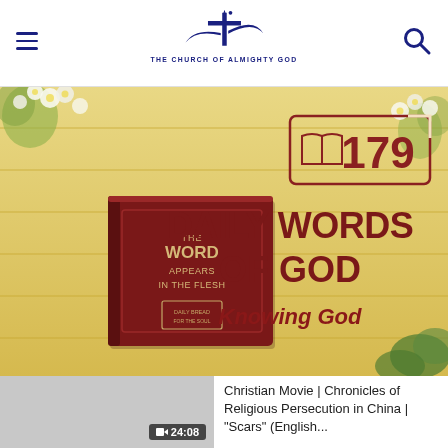THE CHURCH OF ALMIGHTY GOD
[Figure (illustration): Daily Words of God banner — number 179, book titled 'The Word Appears in the Flesh', heading 'DAILY WORDS OF GOD', subtitle 'Knowing God', wood panel background with flowers]
[Figure (screenshot): Video thumbnail — gray placeholder, duration badge showing 24:08]
Christian Movie | Chronicles of Religious Persecution in China | "Scars" (English...